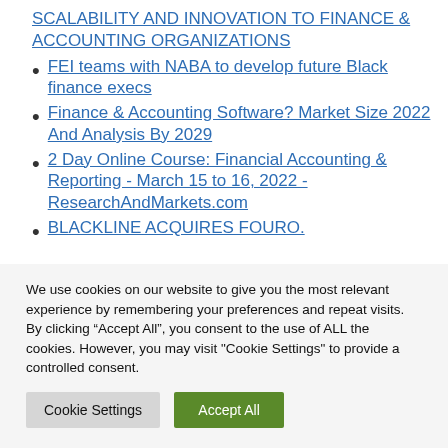SCALABILITY AND INNOVATION TO FINANCE & ACCOUNTING ORGANIZATIONS
FEI teams with NABA to develop future Black finance execs
Finance & Accounting Software? Market Size 2022 And Analysis By 2029
2 Day Online Course: Financial Accounting & Reporting - March 15 to 16, 2022 - ResearchAndMarkets.com
BLACKLINE ACQUIRES FOURO.
We use cookies on our website to give you the most relevant experience by remembering your preferences and repeat visits. By clicking “Accept All”, you consent to the use of ALL the cookies. However, you may visit "Cookie Settings" to provide a controlled consent.
Cookie Settings | Accept All